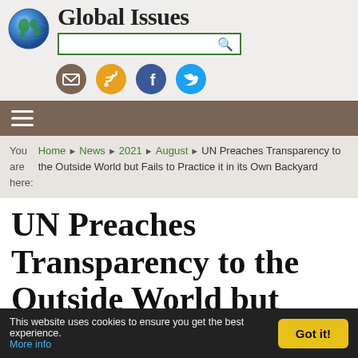[Figure (logo): Globe logo for Global Issues website with blue earth sphere]
Global Issues
[Figure (screenshot): Search bar with green border and search icon]
[Figure (infographic): Social media icon buttons: email (brown), RSS (orange), Facebook (blue), Twitter (cyan)]
[Figure (infographic): Hamburger menu icon on brown navigation bar]
You are here: Home > News > 2021 > August > UN Preaches Transparency to the Outside World but Fails to Practice it in its Own Backyard
UN Preaches Transparency to the Outside World but Fails to Practice it in its Own Backyard
This website uses cookies to ensure you get the best experience. More info